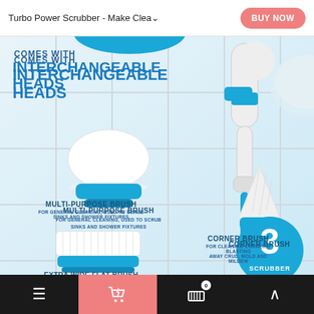Turbo Power Scrubber - Make Clea...
[Figure (photo): Product advertisement for Turbo Power Scrubber showing interchangeable heads: a multi-purpose brush, corner brush, and extra wide flat brush, along with the scrubber handle on a tiled background. A circular badge shows '3 SCRUBBER'.]
COMES WITH INTERCHANGEABLE HEADS
MULTI-PURPOSE BRUSH
FOR GENERAL CLEANING, USED TO SCRUB SINKS AND SHOWER FIXTURES
CORNER BRUSH
FOR CLEANING CORNERS, BLASTING AWAY CRUD, MOLD AND MILDEW
EXTRA WIDE FLAT BRUSH
FOR LARGE SURFACES, SUCH AS TILED FLOOR, WALL, AND CEILINGS
3 SCRUBBER
BUY NOW | Navigation bar with menu, cart (0), and up arrow